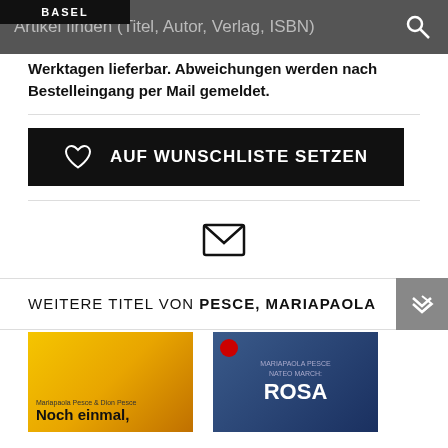[Figure (screenshot): Logo bar with 'BASEL' text in white on black background]
Artikel finden (Titel, Autor, Verlag, ISBN)
Werktagen lieferbar. Abweichungen werden nach Bestelleingang per Mail gemeldet.
[Figure (other): Black button with heart icon and text 'AUF WUNSCHLISTE SETZEN']
[Figure (other): Email envelope icon]
WEITERE TITEL VON PESCE, MARIAPAOLA
[Figure (other): Book cover yellow - 'Noch einmal,' by Mariapaola Pesce & Dion Pesce]
[Figure (other): Book cover dark blue - 'ROSA' by Mariapaola Pesce & Mateo March]